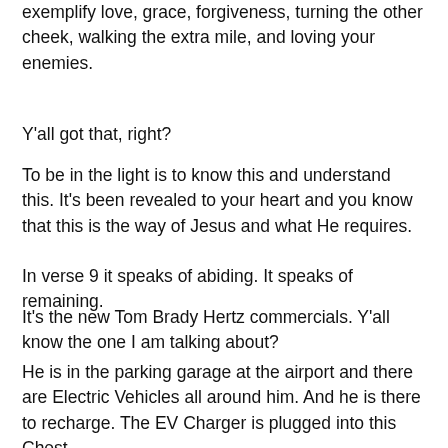exemplify love, grace, forgiveness, turning the other cheek, walking the extra mile, and loving your enemies.
Y'all got that, right?
To be in the light is to know this and understand this. It's been revealed to your heart and you know that this is the way of Jesus and what He requires.
In verse 9 it speaks of abiding. It speaks of remaining.
It's the new Tom Brady Hertz commercials. Y'all know the one I am talking about?
He is in the parking garage at the airport and there are Electric Vehicles all around him. And he is there to recharge. The EV Charger is plugged into this Chest.
That's this picture of abiding and remaining. We are plugged into the vine. We are simply the branches and the sap of the vine is coming to us